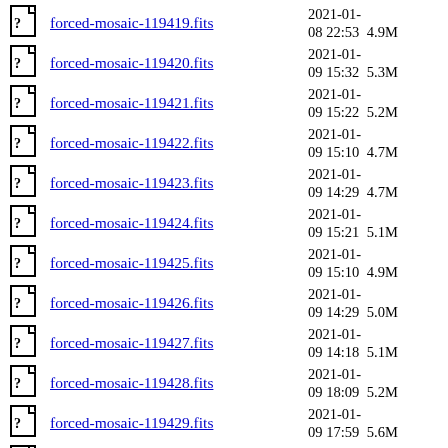forced-mosaic-119419.fits  2021-01-08 22:53  4.9M
forced-mosaic-119420.fits  2021-01-09 15:32  5.3M
forced-mosaic-119421.fits  2021-01-09 15:22  5.2M
forced-mosaic-119422.fits  2021-01-09 15:10  4.7M
forced-mosaic-119423.fits  2021-01-09 14:29  4.7M
forced-mosaic-119424.fits  2021-01-09 15:21  5.1M
forced-mosaic-119425.fits  2021-01-09 15:10  4.9M
forced-mosaic-119426.fits  2021-01-09 14:29  5.0M
forced-mosaic-119427.fits  2021-01-09 14:18  5.1M
forced-mosaic-119428.fits  2021-01-09 18:09  5.2M
forced-mosaic-119429.fits  2021-01-09 17:59  5.6M
forced-mosaic-119430.fits  2021-01-...